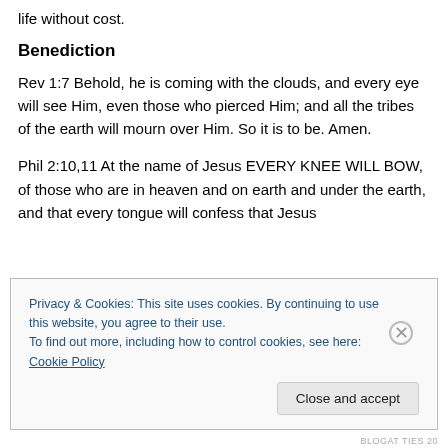life without cost.
Benediction
Rev 1:7 Behold, he is coming with the clouds, and every eye will see Him, even those who pierced Him; and all the tribes of the earth will mourn over Him. So it is to be. Amen.
Phil 2:10,11 At the name of Jesus EVERY KNEE WILL BOW, of those who are in heaven and on earth and under the earth, and that every tongue will confess that Jesus
Privacy & Cookies: This site uses cookies. By continuing to use this website, you agree to their use.
To find out more, including how to control cookies, see here: Cookie Policy
Close and accept